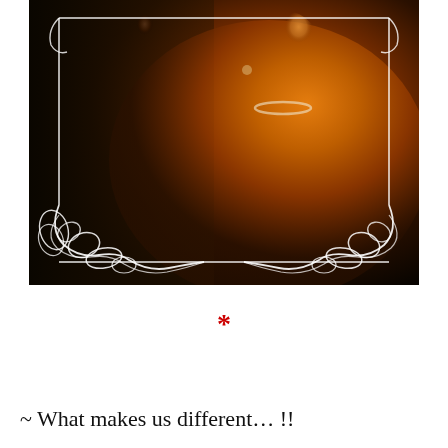[Figure (photo): A couple photographed together — a man in a dark suit on the left and a woman in an orange/golden saree wearing a pearl necklace on the right — framed with ornate white decorative scroll border on a dark background.]
*
~ What makes us different… !!